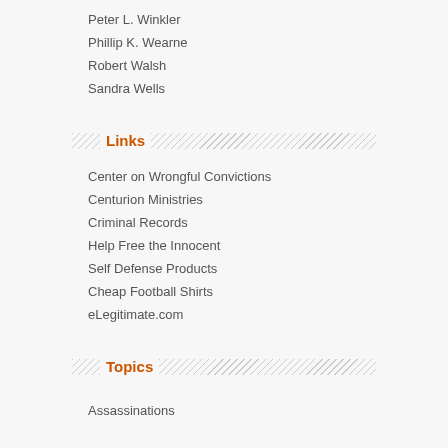Peter L. Winkler
Phillip K. Wearne
Robert Walsh
Sandra Wells
Links
Center on Wrongful Convictions
Centurion Ministries
Criminal Records
Help Free the Innocent
Self Defense Products
Cheap Football Shirts
eLegitimate.com
Topics
Assassinations